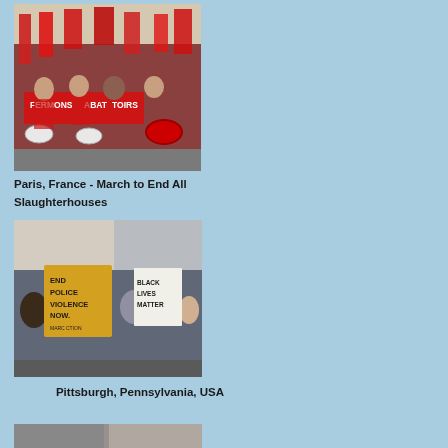[Figure (photo): Protest march in Paris, France - people dressed in red carrying banners reading 'FERMONS ABATTOIRS' (Close Slaughterhouses), playing drums]
Paris, France - March to End All Slaughterhouses
[Figure (photo): Protest in Pittsburgh, Pennsylvania, USA - crowd carrying signs including 'END POLICE VIOLENCE NOW.' (yellow sign) and 'BLACK LIVES MATTER']
Pittsburgh, Pennsylvania, USA
[Figure (photo): Partial view of another protest photo at the bottom of the page]